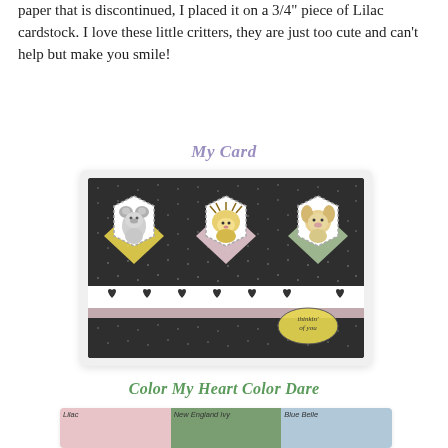paper that is discontinued, I placed it on a 3/4" piece of Lilac cardstock. I love these little critters, they are just too cute and can't help but make you smile!
My Card
[Figure (photo): A handmade greeting card featuring three hexagonal frames on a dark dotted background. Each hexagon contains a cute animal illustration (koala, hedgehog, dog) set on colored diamond shapes (yellow, pink, green). A white strip with black hearts runs horizontally, and a speech bubble reads 'thinkin' of you'.]
Color My Heart Color Dare
[Figure (other): Color swatches showing three colors: Lilac (pink), New England Ivy (green), Blue Belle (light blue).]